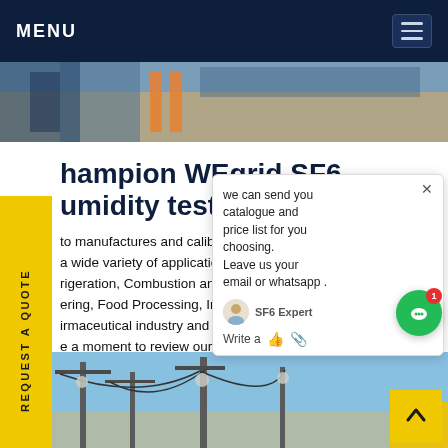MENU
[Figure (photo): Worker in blue jacket near industrial equipment with yellow tape, top hero image]
Champion WEgrid SF6 humidity test for s
to manufactures and calibrates at a wide variety of applications, inc, rigeration, Combustion and E s, ering, Food Processing, Indoor Ai e irmaceutical industry and many more. Please e a moment to review our company video, which hlights how Testo can assist in yourGet price
[Figure (photo): Electric power transmission substation with poles and cables, bottom hero image]